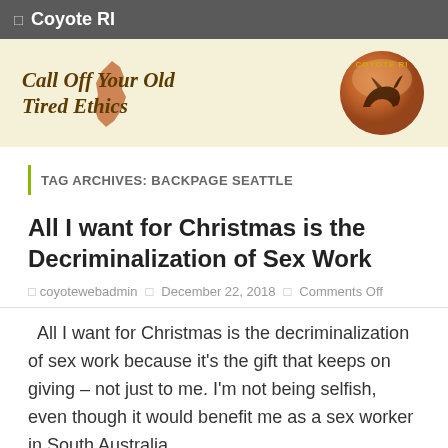🔲  Coyote RI
[Figure (logo): Coyote RI website banner with text 'Call Off Your Old Tired Ethics' on a cream background with a Rhode Island state shape, and a circular Coyote RI logo with a howling coyote on the right.]
TAG ARCHIVES: BACKPAGE SEATTLE
All I want for Christmas is the Decriminalization of Sex Work
🔲 coyotewebadmin  🔲 December 22, 2018  🔲 Comments Off
All I want for Christmas is the decriminalization of sex work because it's the gift that keeps on giving – not just to me. I'm not being selfish, even though it would benefit me as a sex worker in South Australia,